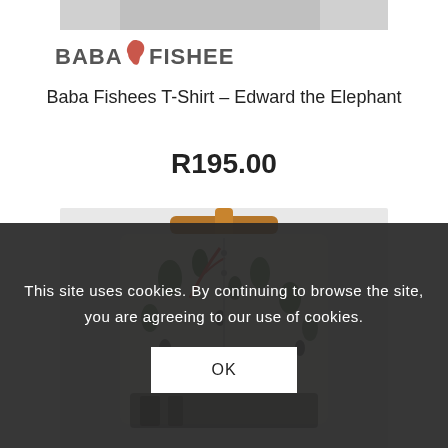[Figure (photo): Partial product image at top (cropped t-shirt photo)]
[Figure (logo): Baba Fishees logo with Africa continent icon between BABA and FISHEES]
Baba Fishees T-Shirt – Edward the Elephant
R195.00
[Figure (photo): Product photo of a children's t-shirt with jungle/safari animal print hanging on a wooden hanger]
This site uses cookies. By continuing to browse the site, you are agreeing to our use of cookies.
OK